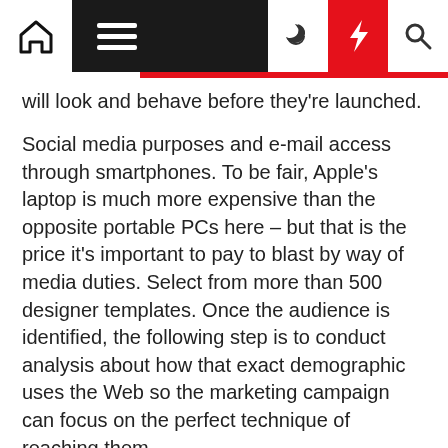Navigation bar with home, menu, dark mode, lightning, and search icons
will look and behave before they're launched.
Social media purposes and e-mail access through smartphones. To be fair, Apple's laptop is much more expensive than the opposite portable PCs here – but that is the price it's important to pay to blast by way of media duties. Select from more than 500 designer templates. Once the audience is identified, the following step is to conduct analysis about how that exact demographic uses the Web so the marketing campaign can focus on the perfect technique of reaching them.
Being a network and systems administrator entails offering help for a corporation's networks, such as installing new hardware and software program, doing programs maintenance, coaching users, troubleshooting problems and monitoring